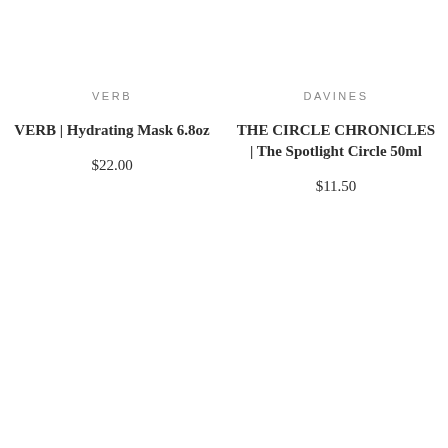VERB
VERB | Hydrating Mask 6.8oz
$22.00
DAVINES
THE CIRCLE CHRONICLES | The Spotlight Circle 50ml
$11.50